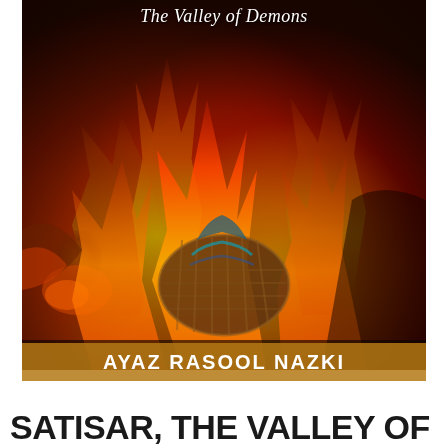The Valley of Demons
[Figure (photo): Book cover showing a dramatic fire scene with orange and yellow flames engulfing what appears to be a woven basket or object, against a dark background]
AYAZ RASOOL NAZKI
SATISAR, THE VALLEY OF